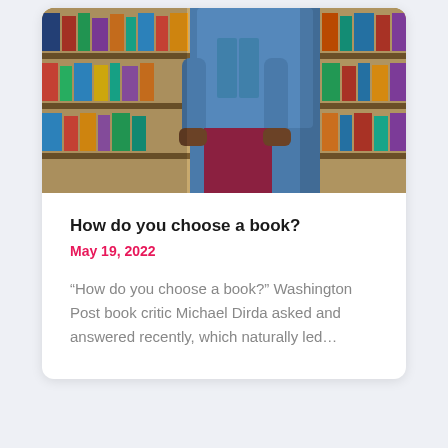[Figure (photo): A person standing in front of bookshelves filled with colorful books in a bookstore or library, wearing a denim jacket and dark red/maroon pants, photographed from behind/side angle.]
How do you choose a book?
May 19, 2022
“How do you choose a book?” Washington Post book critic Michael Dirda asked and answered recently, which naturally led…